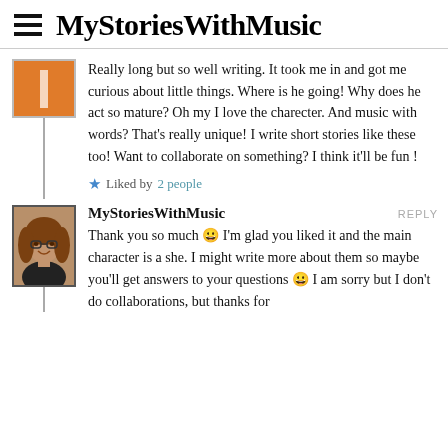MyStoriesWithMusic
Really long but so well writing. It took me in and got me curious about little things. Where is he going! Why does he act so mature? Oh my I love the charecter. And music with words? That's really unique! I write short stories like these too! Want to collaborate on something? I think it'll be fun !
★ Liked by 2 people
MyStoriesWithMusic REPLY
Thank you so much 😀 I'm glad you liked it and the main character is a she. I might write more about them so maybe you'll get answers to your questions 😀 I am sorry but I don't do collaborations, but thanks for